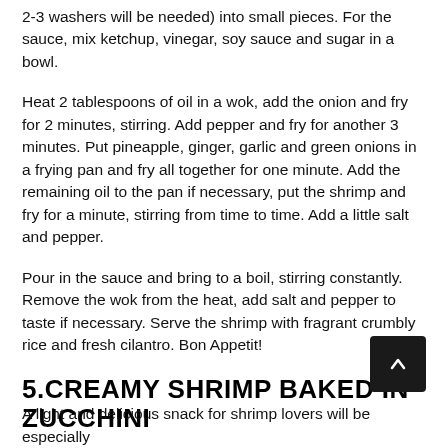2-3 washers will be needed) into small pieces. For the sauce, mix ketchup, vinegar, soy sauce and sugar in a bowl.
Heat 2 tablespoons of oil in a wok, add the onion and fry for 2 minutes, stirring. Add pepper and fry for another 3 minutes. Put pineapple, ginger, garlic and green onions in a frying pan and fry all together for one minute. Add the remaining oil to the pan if necessary, put the shrimp and fry for a minute, stirring from time to time. Add a little salt and pepper.
Pour in the sauce and bring to a boil, stirring constantly. Remove the wok from the heat, add salt and pepper to taste if necessary. Serve the shrimp with fragrant crumbly rice and fresh cilantro. Bon Appetit!
5.CREAMY SHRIMP BAKED IN ZUCCHINI
A light and delicious snack for shrimp lovers will be especially